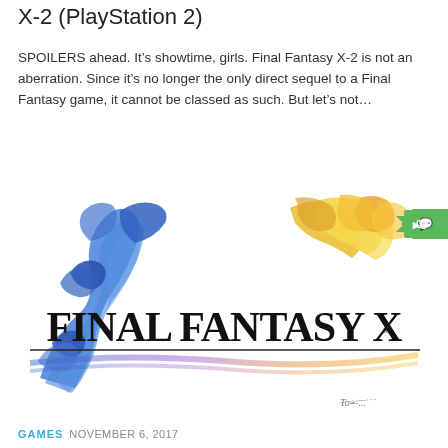X-2 (PlayStation 2)
SPOILERS ahead. It’s showtime, girls. Final Fantasy X-2 is not an aberration. Since it’s no longer the only direct sequel to a Final Fantasy game, it cannot be classed as such. But let’s not…
[Figure (illustration): Final Fantasy X official logo artwork with two characters rendered in blue and yellow/gold, large stylized text reading FINAL FANTASY X, with a comment badge showing 0 comments.]
GAMES  NOVEMBER 6, 2017